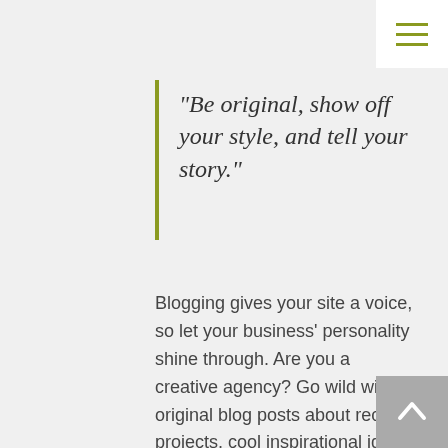“Be original, show off your style, and tell your story.”
Blogging gives your site a voice, so let your business’ personality shine through. Are you a creative agency? Go wild with original blog posts about recent projects, cool inspirational ideas, or what your company culture is like. Add images, and videos to really spice it up, and pepper it with slang to keep readers interested. Are you a programmer? Stay on the more technical side by offering...